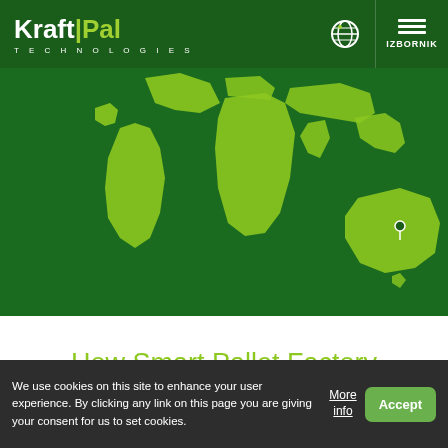KraftPal TECHNOLOGIES — IZBORNIK
[Figure (map): World map with green continents on a dark green background, showing a location pin over Australia]
How Smart Pallet Factory Investment Program Works
We use cookies on this site to enhance your user experience. By clicking any link on this page you are giving your consent for us to set cookies.
More info
Accept
MARKET